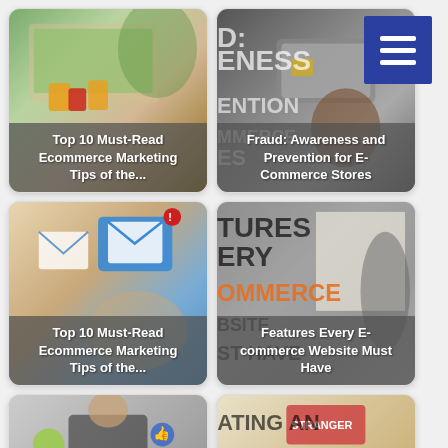[Figure (screenshot): Grid of 6 article cards on a website, showing ecommerce marketing article thumbnails with titles overlaid, plus a hamburger menu button in the top right]
Top 10 Must-Read Ecommerce Marketing Tips of the...
Fraud: Awareness and Prevention for E-Commerce Stores
Top 10 Must-Read Ecommerce Marketing Tips of the...
Features Every E-commerce Website Must Have
ITENT NEL
ATING AN MMERCE RKETING